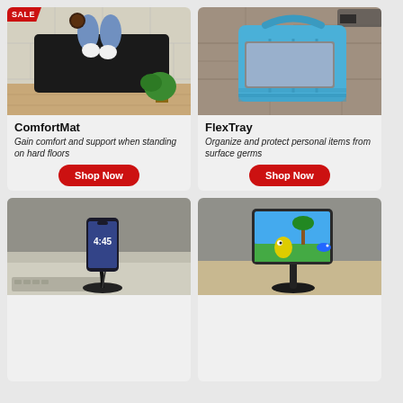[Figure (photo): Aerial view of a person standing on a black ComfortMat on a tiled floor, holding a coffee cup, with a plant visible. Red SALE badge in top-left corner.]
ComfortMat
Gain comfort and support when standing on hard floors
Shop Now
[Figure (photo): Overhead view of a blue FlexTray bag organizer on a stone tile surface, with shoes visible.]
FlexTray
Organize and protect personal items from surface germs
Shop Now
[Figure (photo): A smartphone mounted on a black desktop phone stand on a desk with a keyboard visible underneath.]
[Figure (photo): A tablet mounted on a black desktop tablet stand on a wooden surface, showing a children's cartoon on screen.]